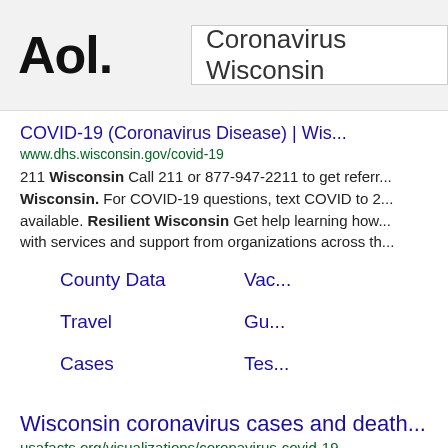Aol. | Coronavirus Wisconsin
COVID-19 (Coronavirus Disease) | Wis...
www.dhs.wisconsin.gov/covid-19
211 Wisconsin Call 211 or 877-947-2211 to get referr... Wisconsin. For COVID-19 questions, text COVID to 2... available. Resilient Wisconsin Get help learning how... with services and support from organizations across th...
County Data
Vac...
Travel
Gu...
Cases
Tes...
Wisconsin coronavirus cases and death...
usafacts.org/visualizations/coronavirus-covid-19...
Wisconsin coronavirus cases and deaths How is Wis... and at a state level? Get the answers here, with data o... the history of coronavirus cases in Wisconsin, both n... National / Wisconsin / County Cases and Deaths
Wisconsin COVID-19 Map: Tracking the...